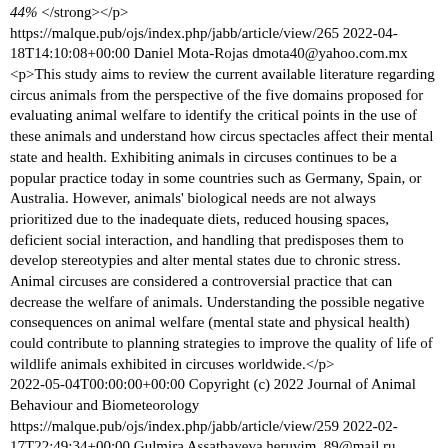<em>44%</em> </strong></p> https://malque.pub/ojs/index.php/jabb/article/view/265 2022-04-18T14:10:08+00:00 Daniel Mota-Rojas dmota40@yahoo.com.mx <p>This study aims to review the current available literature regarding circus animals from the perspective of the five domains proposed for evaluating animal welfare to identify the critical points in the use of these animals and understand how circus spectacles affect their mental state and health. Exhibiting animals in circuses continues to be a popular practice today in some countries such as Germany, Spain, or Australia. However, animals' biological needs are not always prioritized due to the inadequate diets, reduced housing spaces, deficient social interaction, and handling that predisposes them to develop stereotypies and alter mental states due to chronic stress. Animal circuses are considered a controversial practice that can decrease the welfare of animals. Understanding the possible negative consequences on animal welfare (mental state and physical health) could contribute to planning strategies to improve the quality of life of wildlife animals exhibited in circuses worldwide.</p> 2022-05-04T00:00:00+00:00 Copyright (c) 2022 Journal of Animal Behaviour and Biometeorology https://malque.pub/ojs/index.php/jabb/article/view/259 2022-02-17T22:49:34+00:00 Gulmira Assatbayeva heruvim_89@mail.ru Saltanat Issabekova s.issabekova@kazatu.kz Rashit Uskenov ruskenov@mail.ru Talgat Karymsakov kartalgat@mail.ru Talgat Abdukhamitov abdtalgal@mail.r